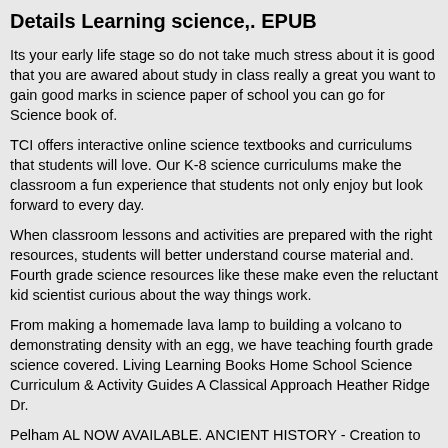Details Learning science,. EPUB
Its your early life stage so do not take much stress about it is good that you are awared about study in class really a great you want to gain good marks in science paper of school you can go for Science book of.
TCI offers interactive online science textbooks and curriculums that students will love. Our K-8 science curriculums make the classroom a fun experience that students not only enjoy but look forward to every day.
When classroom lessons and activities are prepared with the right resources, students will better understand course material and. Fourth grade science resources like these make even the reluctant kid scientist curious about the way things work.
From making a homemade lava lamp to building a volcano to demonstrating density with an egg, we have teaching fourth grade science covered. Living Learning Books Home School Science Curriculum & Activity Guides A Classical Approach Heather Ridge Dr.
Pelham AL NOW AVAILABLE. ANCIENT HISTORY - Creation to the Greeks Click HERE for details. The book by Brunton and Katrina an excellent text for elementary science students but